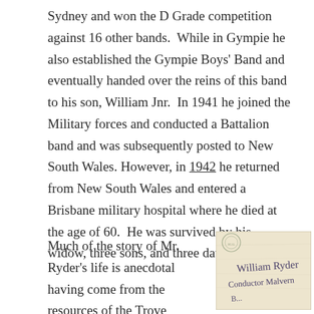Sydney and won the D Grade competition against 16 other bands.  While in Gympie he also established the Gympie Boys' Band and eventually handed over the reins of this band to his son, William Jnr.  In 1941 he joined the Military forces and conducted a Battalion band and was subsequently posted to New South Wales. However, in 1942 he returned from New South Wales and entered a Brisbane military hospital where he died at the age of 60.  He was survived by his widow, three sons, and three daughters.
Much of the story of Mr. Ryder's life is anecdotal having come from the resources of the Trove
[Figure (photo): A handwritten envelope or letter addressed to William Ryder, Conductor Malvern, with a postal seal/stamp visible in the upper left corner.]